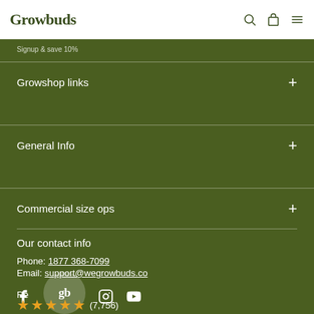Growbuds
Growshop links
General Info
Commercial size ops
Our contact info
Phone: 1877 368-7099
Email: support@wegrowbuds.co
Reviews (7,756)